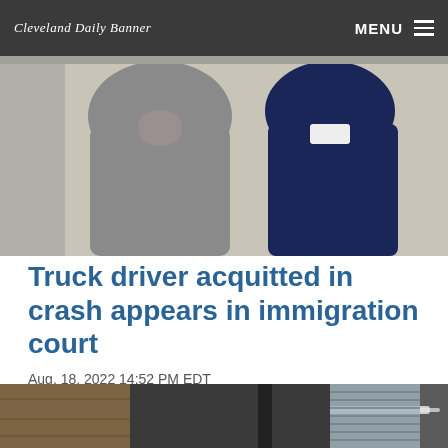Cleveland Daily Banner
[Figure (photo): Two people standing with backs to camera, one in a grey suit and one in a dark navy jacket, in what appears to be a courtroom or official setting.]
Truck driver acquitted in crash appears in immigration court
Aug. 18, 2022 14:52 PM EDT
[Figure (photo): Interior of what appears to be a courtroom with blinds on windows and overhead lighting.]